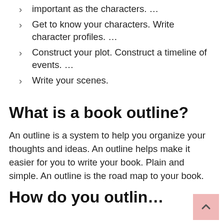important as the characters. …
Get to know your characters. Write character profiles. …
Construct your plot. Construct a timeline of events. …
Write your scenes.
What is a book outline?
An outline is a system to help you organize your thoughts and ideas. An outline helps make it easier for you to write your book. Plain and simple. An outline is the road map to your book.
How do you outline…